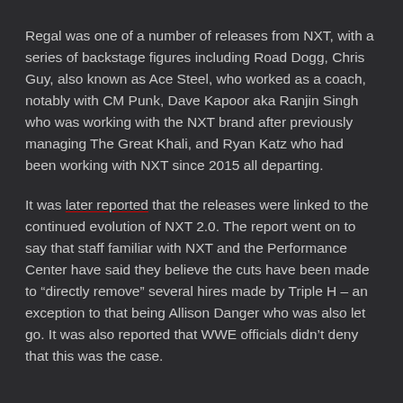Regal was one of a number of releases from NXT, with a series of backstage figures including Road Dogg, Chris Guy, also known as Ace Steel, who worked as a coach, notably with CM Punk, Dave Kapoor aka Ranjin Singh who was working with the NXT brand after previously managing The Great Khali, and Ryan Katz who had been working with NXT since 2015 all departing.
It was later reported that the releases were linked to the continued evolution of NXT 2.0. The report went on to say that staff familiar with NXT and the Performance Center have said they believe the cuts have been made to “directly remove” several hires made by Triple H – an exception to that being Allison Danger who was also let go. It was also reported that WWE officials didn’t deny that this was the case.